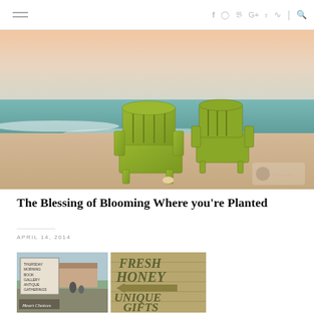☰ f IG t G+ p RSS | 🔍
[Figure (photo): Two lime green Adirondack chairs on a sandy beach at sunset/sunrise, with ocean waves in the background. A small watermark logo is visible in the bottom right corner.]
The Blessing of Blooming Where you're Planted
APRIL 14, 2014
[Figure (photo): Collage of two photos: left shows a roadside sign board listing 'Thursday Morning Book Gallery Antique Gatherings The Market at Jennifer' with people and a building visible, labeled 'Heart Choices'; right shows a wooden sign reading 'Fresh Honey ← Unique Gifts']